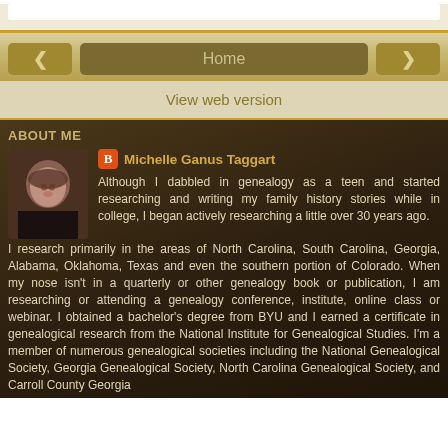Home
View web version
ABOUT ME
Michelle Ganus Taggart
Although I dabbled in genealogy as a teen and started researching and writing my family history stories while in college, I began actively researching a little over 30 years ago. I research primarily in the areas of North Carolina, South Carolina, Georgia, Alabama, Oklahoma, Texas and even the southern portion of Colorado. When my nose isn't in a quarterly or other genealogy book or publication, I am researching or attending a genealogy conference, institute, online class or webinar. I obtained a bachelor's degree from BYU and I earned a certificate in genealogical research from the National Institute for Genealogical Studies. I'm a member of numerous genealogical societies including the National Genealogical Society, Georgia Genealogical Society, North Carolina Genealogical Society, and Carroll County Georgia